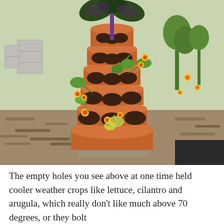[Figure (photo): A tall terracotta-colored stacking planter tower with multiple round holes/pockets filled with soil. Various plants grow from the pockets including purple/green kale at the top, small yellow-orange marigold flowers, green leafy plants (tomato, cucumber, herbs), and a yellow-leafed plant near the bottom. The tower sits on a concrete block in a garden setting with mulch on the ground, cinder block walls in the background, and other garden plants visible.]
The empty holes you see above at one time held cooler weather crops like lettuce, cilantro and arugula, which really don't like much above 70 degrees, or they bolt